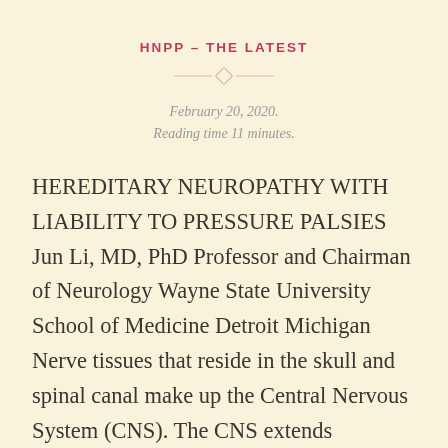HNPP – THE LATEST
February 20, 2020.
Reading time 11 minutes.
HEREDITARY NEUROPATHY WITH LIABILITY TO PRESSURE PALSIES Jun Li, MD, PhD Professor and Chairman of Neurology Wayne State University School of Medicine Detroit Michigan Nerve tissues that reside in the skull and spinal canal make up the Central Nervous System (CNS). The CNS extends numerous nerve fibers out of the space of the skull and [...]